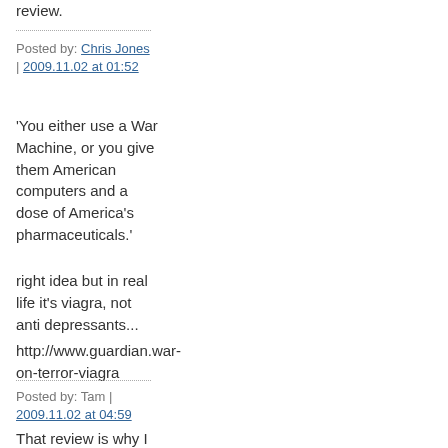review.
Posted by: Chris Jones | 2009.11.02 at 01:52
'You either use a War Machine, or you give them American computers and a dose of America's pharmaceuticals.'
right idea but in real life it's viagra, not anti depressants...
http://www.guardian.war-on-terror-viagra
Posted by: Tam | 2009.11.02 at 04:59
That review is why I like Millar's books.